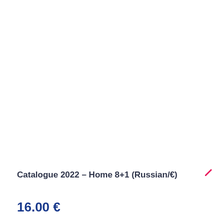Catalogue 2022 – Home 8+1 (Russian/€)
16.00 €